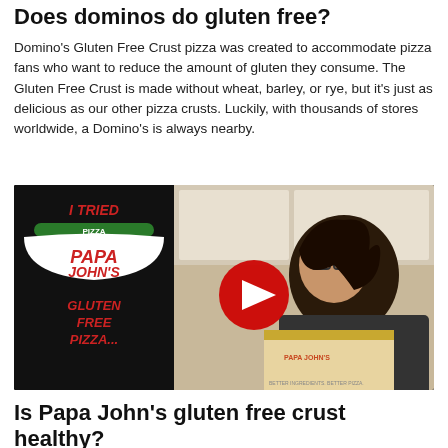Does dominos do gluten free?
Domino's Gluten Free Crust pizza was created to accommodate pizza fans who want to reduce the amount of gluten they consume. The Gluten Free Crust is made without wheat, barley, or rye, but it's just as delicious as our other pizza crusts. Luckily, with thousands of stores worldwide, a Domino's is always nearby.
[Figure (screenshot): YouTube video thumbnail showing a woman holding a Papa John's pizza box. Left side has black background with red text reading 'I TRIED PIZZA PAPA JOHN'S GLUTEN FREE PIZZA...' with Papa John's logo. A red YouTube play button is overlaid in the center.]
Is Papa John's gluten free crust healthy?